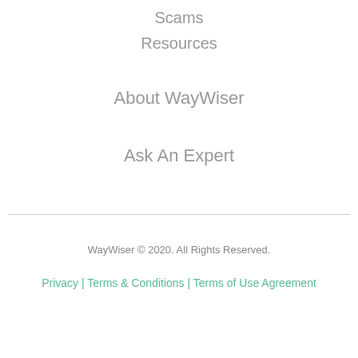Scams
Resources
About WayWiser
Ask An Expert
WayWiser © 2020. All Rights Reserved.
Privacy | Terms & Conditions | Terms of Use Agreement